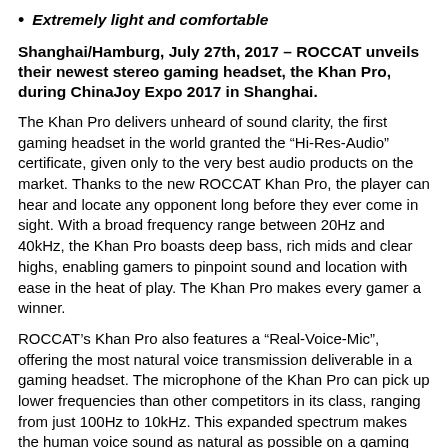Extremely light and comfortable
Shanghai/Hamburg, July 27th, 2017 – ROCCAT unveils their newest stereo gaming headset, the Khan Pro, during ChinaJoy Expo 2017 in Shanghai.
The Khan Pro delivers unheard of sound clarity, the first gaming headset in the world granted the “Hi-Res-Audio” certificate, given only to the very best audio products on the market. Thanks to the new ROCCAT Khan Pro, the player can hear and locate any opponent long before they ever come in sight. With a broad frequency range between 20Hz and 40kHz, the Khan Pro boasts deep bass, rich mids and clear highs, enabling gamers to pinpoint sound and location with ease in the heat of play. The Khan Pro makes every gamer a winner.
ROCCAT’s Khan Pro also features a “Real-Voice-Mic”, offering the most natural voice transmission deliverable in a gaming headset. The microphone of the Khan Pro can pick up lower frequencies than other competitors in its class, ranging from just 100Hz to 10kHz. This expanded spectrum makes the human voice sound as natural as possible on a gaming headset, optimizing team communication like never before, ensuring commands and callouts are crystal clear.